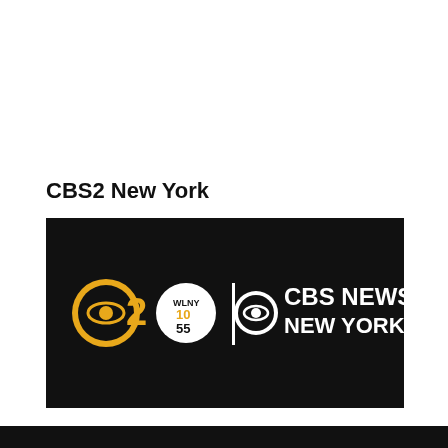CBS2 New York
[Figure (logo): CBS2 New York logo banner on black background featuring the CBS eye logo with '2', WLNY 10/55 circle logo, a vertical white divider bar, and 'CBS NEWS NEW YORK' text in white on black.]